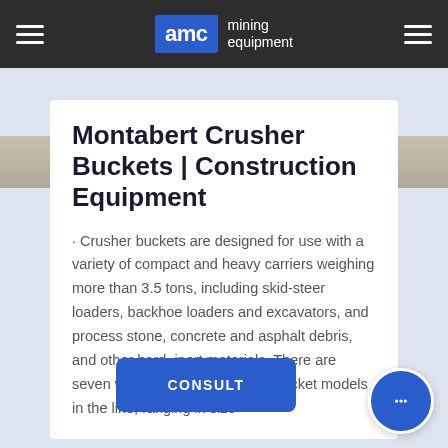AMC mining equipment
[Figure (photo): Partial view of a rocky or gravel surface, shown as a banner image strip below the navigation bar.]
Montabert Crusher Buckets | Construction Equipment
· Crusher buckets are designed for use with a variety of compact and heavy carriers weighing more than 3.5 tons, including skid-steer loaders, backhoe loaders and excavators, and process stone, concrete and asphalt debris, and other hard, inert materials. There are seven wide-aperture... crusher bucket models in the line, ranging in size